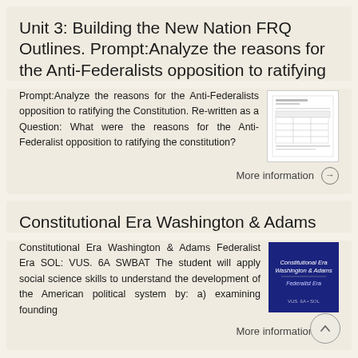Unit 3: Building the New Nation FRQ Outlines. Prompt:Analyze the reasons for the Anti-Federalists opposition to ratifying
Prompt:Analyze the reasons for the Anti-Federalists opposition to ratifying the Constitution. Re-written as a Question: What were the reasons for the Anti-Federalist opposition to ratifying the constitution?
[Figure (other): Thumbnail image of a document worksheet with table/grid layout]
More information →
Constitutional Era Washington & Adams
Constitutional Era Washington & Adams Federalist Era SOL: VUS. 6A SWBAT The student will apply social science skills to understand the development of the American political system by: a) examining founding
[Figure (other): Thumbnail of a dark blue book cover titled Constitutional Era Washington & Adams, Federalist Era]
More information →